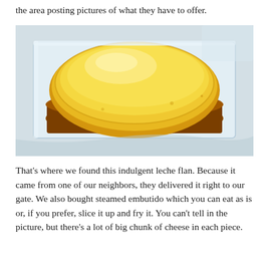the area posting pictures of what they have to offer.
[Figure (photo): A leche flan (caramel custard dessert) in a clear plastic container. The flan is oval-shaped with a smooth, glossy golden-yellow top, sitting on a caramel sauce layer. The container appears to be sitting on a plastic bag.]
That’s where we found this indulgent leche flan. Because it came from one of our neighbors, they delivered it right to our gate. We also bought steamed embutido which you can eat as is or, if you prefer, slice it up and fry it. You can’t tell in the picture, but there’s a lot of big chunk of cheese in each piece.